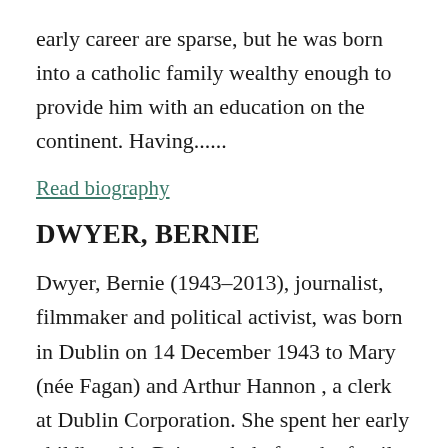early career are sparse, but he was born into a catholic family wealthy enough to provide him with an education on the continent. Having......
Read biography
DWYER, BERNIE
Dwyer, Bernie (1943–2013), journalist, filmmaker and political activist, was born in Dublin on 14 December 1943 to Mary (née Fagan) and Arthur Hannon , a clerk at Dublin Corporation. She spent her early childhood in Drimnagh, before the family moved to Sutton, Co. Dublin. She left......